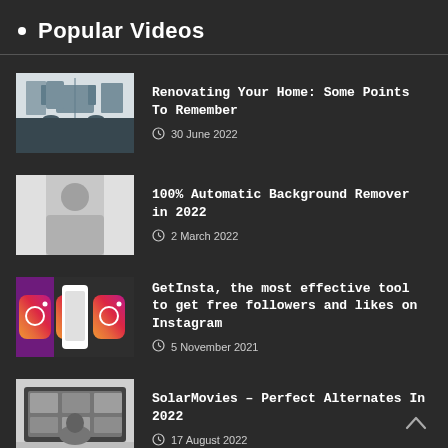Popular Videos
Renovating Your Home: Some Points To Remember
30 June 2022
100% Automatic Background Remover in 2022
2 March 2022
GetInsta, the most effective tool to get free followers and likes on Instagram
5 November 2021
SolarMovies – Perfect Alternates In 2022
17 August 2022